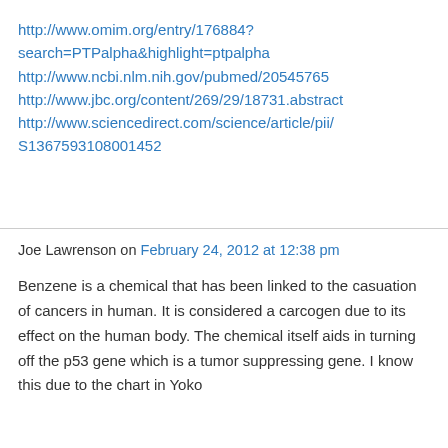http://www.omim.org/entry/176884?search=PTPalpha&highlight=ptpalpha
http://www.ncbi.nlm.nih.gov/pubmed/20545765
http://www.jbc.org/content/269/29/18731.abstract
http://www.sciencedirect.com/science/article/pii/S1367593108001452
Joe Lawrenson on February 24, 2012 at 12:38 pm
Benzene is a chemical that has been linked to the casuation of cancers in human. It is considered a carcogen due to its effect on the human body. The chemical itself aids in turning off the p53 gene which is a tumor suppressing gene. I know this due to the chart in Yoko